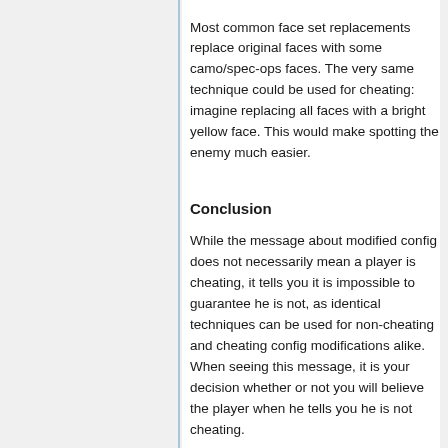Most common face set replacements replace original faces with some camo/spec-ops faces. The very same technique could be used for cheating: imagine replacing all faces with a bright yellow face. This would make spotting the enemy much easier.
Conclusion
While the message about modified config does not necessarily mean a player is cheating, it tells you it is impossible to guarantee he is not, as identical techniques can be used for non-cheating and cheating config modifications alike. When seeing this message, it is your decision whether or not you will believe the player when he tells you he is not cheating.